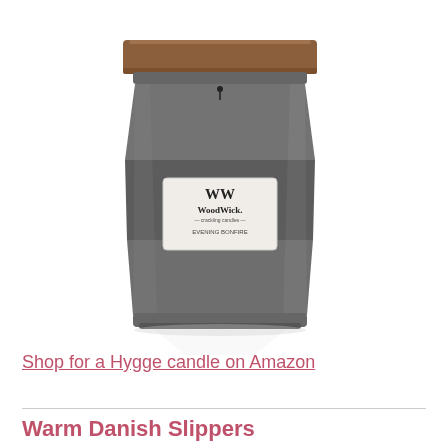[Figure (photo): A WoodWick candle in a dark charcoal/grey glass jar with a wooden lid. The candle has a white label reading 'WW WoodWick Evening Bonfire'.]
Shop for a Hygge candle on Amazon
Warm Danish Slippers